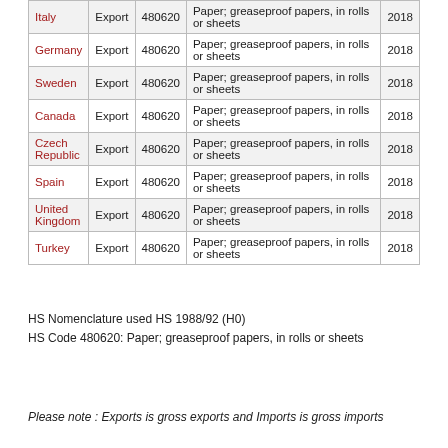| Country | Trade Flow | HS Code | Description | Year |
| --- | --- | --- | --- | --- |
| Italy | Export | 480620 | Paper; greaseproof papers, in rolls or sheets | 2018 |
| Germany | Export | 480620 | Paper; greaseproof papers, in rolls or sheets | 2018 |
| Sweden | Export | 480620 | Paper; greaseproof papers, in rolls or sheets | 2018 |
| Canada | Export | 480620 | Paper; greaseproof papers, in rolls or sheets | 2018 |
| Czech Republic | Export | 480620 | Paper; greaseproof papers, in rolls or sheets | 2018 |
| Spain | Export | 480620 | Paper; greaseproof papers, in rolls or sheets | 2018 |
| United Kingdom | Export | 480620 | Paper; greaseproof papers, in rolls or sheets | 2018 |
| Turkey | Export | 480620 | Paper; greaseproof papers, in rolls or sheets | 2018 |
HS Nomenclature used HS 1988/92 (H0)
HS Code 480620: Paper; greaseproof papers, in rolls or sheets
Please note : Exports is gross exports and Imports is gross imports